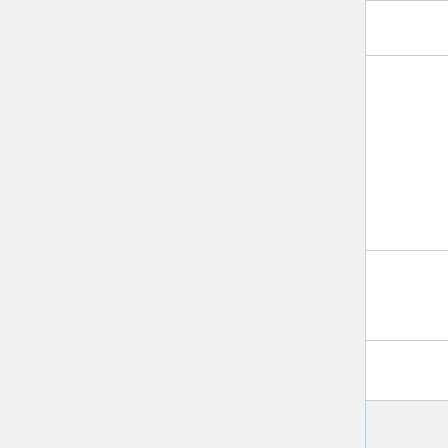| Domain | Date |
| --- | --- |
| untiny.me | 2016-04-29 |
| ushare.education | 2016-11-19 |
| url.az | 2016-04-29 |
| url.ie | 2016-04-29 |